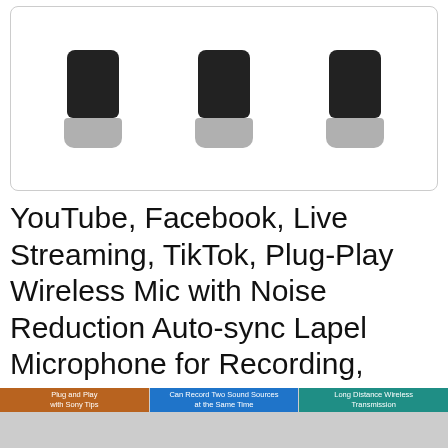[Figure (photo): Three wireless lavalier microphone devices displayed side by side, each with a black rectangular top and gray rounded bottom base, shown against a white background with a light gray border.]
YouTube, Facebook, Live Streaming, TikTok, Plug-Play Wireless Mic with Noise Reduction Auto-sync Lapel Microphone for Recording, 2Pcs Wireless Lavalier Microphone for iPhone iPad
As an Amazon Associate I earn from qualifying purchases. This website uses the only necessary cookies to ensure you get the best experience on our website. More information
#ad
[Figure (screenshot): Three small thumbnail images at the bottom of the page showing product-related content with colored banner labels.]